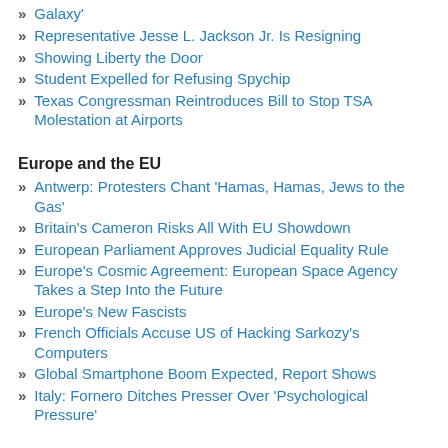Galaxy'
Representative Jesse L. Jackson Jr. Is Resigning
Showing Liberty the Door
Student Expelled for Refusing Spychip
Texas Congressman Reintroduces Bill to Stop TSA Molestation at Airports
Europe and the EU
Antwerp: Protesters Chant 'Hamas, Hamas, Jews to the Gas'
Britain's Cameron Risks All With EU Showdown
European Parliament Approves Judicial Equality Rule
Europe's Cosmic Agreement: European Space Agency Takes a Step Into the Future
Europe's New Fascists
French Officials Accuse US of Hacking Sarkozy's Computers
Global Smartphone Boom Expected, Report Shows
Italy: Fornero Ditches Presser Over 'Psychological Pressure'